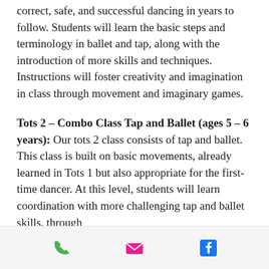correct, safe, and successful dancing in years to follow. Students will learn the basic steps and terminology in ballet and tap, along with the introduction of more skills and techniques. Instructions will foster creativity and imagination in class through movement and imaginary games.
Tots 2 – Combo Class Tap and Ballet (ages 5 – 6 years): Our tots 2 class consists of tap and ballet. This class is built on basic movements, already learned in Tots 1 but also appropriate for the first-time dancer. At this level, students will learn coordination with more challenging tap and ballet skills, through
[phone icon] [email icon] [facebook icon]